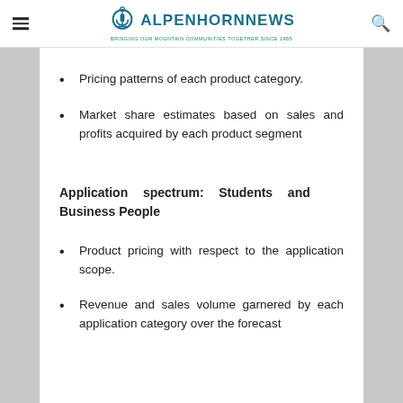ALPENHORNNEWS — Bringing Our Mountain Communities Together Since 1985
Pricing patterns of each product category.
Market share estimates based on sales and profits acquired by each product segment
Application spectrum: Students and Business People
Product pricing with respect to the application scope.
Revenue and sales volume garnered by each application category over the forecast